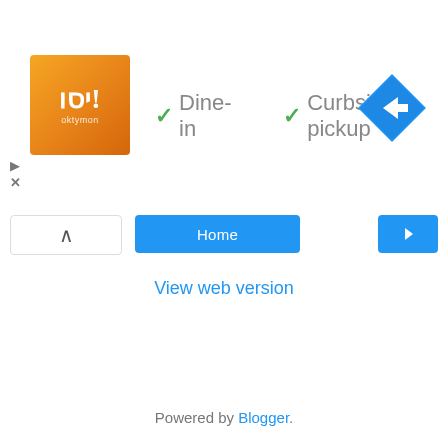[Figure (logo): Restaurant logo with orange/yellow gradient background and white stylized text]
✓ Dine-in  ✓ Curbside pickup
[Figure (other): Blue diamond navigation arrow icon pointing right]
▶
✕
∧
Home
➤
View web version
Powered by Blogger.